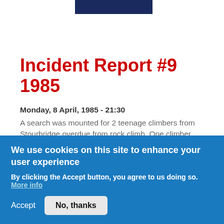[Figure (other): Dark navy blue rectangular logo/header bar]
Incident Report #9 1985
Monday, 8 April, 1985 - 21:30
A search was mounted for 2 teenage climbers from Stourbridge overdue from rock climb. One climber found but his friend was last seen near top of crag. Eventually located missing climber unhurt amongst
We use cookies on this site to enhance your user experience
By clicking the Accept button, you agree to us doing so. More info
Accept  No, thanks